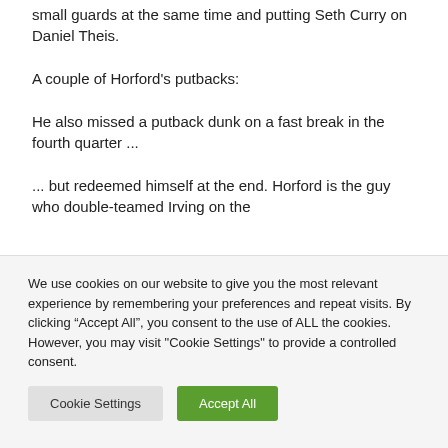small guards at the same time and putting Seth Curry on Daniel Theis.
A couple of Horford’s putbacks:
He also missed a putback dunk on a fast break in the fourth quarter ...
... but redeemed himself at the end. Horford is the guy who double-teamed Irving on the
We use cookies on our website to give you the most relevant experience by remembering your preferences and repeat visits. By clicking “Accept All”, you consent to the use of ALL the cookies. However, you may visit "Cookie Settings" to provide a controlled consent.